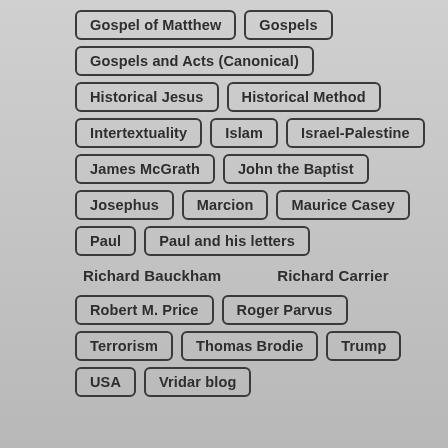Gospel of Matthew
Gospels
Gospels and Acts (Canonical)
Historical Jesus
Historical Method
Intertextuality
Islam
Israel-Palestine
James McGrath
John the Baptist
Josephus
Marcion
Maurice Casey
Paul
Paul and his letters
Richard Bauckham
Richard Carrier
Robert M. Price
Roger Parvus
Terrorism
Thomas Brodie
Trump
USA
Vridar blog